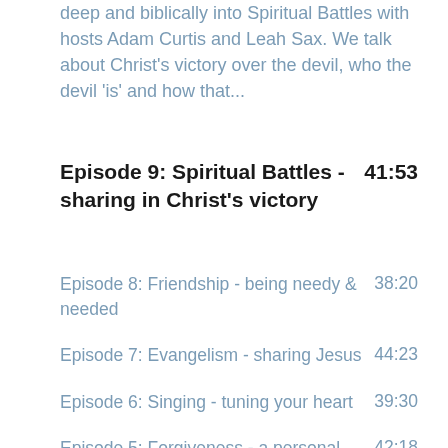deep and biblically into Spiritual Battles with hosts Adam Curtis and Leah Sax. We talk about Christ's victory over the devil, who the devil 'is' and how that...
Episode 9: Spiritual Battles - sharing in Christ's victory   41:53
Episode 8: Friendship - being needy & needed   38:20
Episode 7: Evangelism - sharing Jesus   44:23
Episode 6: Singing - tuning your heart   39:30
Episode 5: Forgiveness - a personal story   42:18